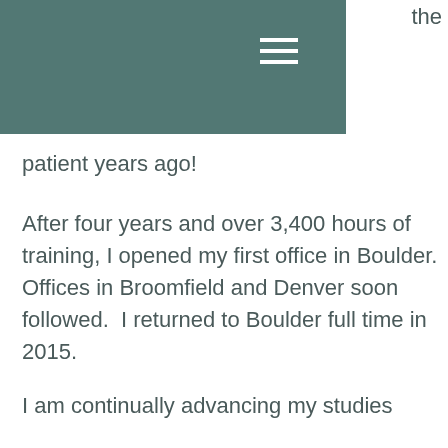[Figure (other): Teal/green navigation header bar with hamburger menu icon]
the
patient years ago!
After four years and over 3,400 hours of training, I opened my first office in Boulder. Offices in Broomfield and Denver soon followed.  I returned to Boulder full time in 2015.
Practicing Chinese medicine is immensely gratifying, allowing me to help others achieve their health goals, overcome illness and injury, and do so in a natural, effective, and holistic manner.
I am continually advancing my studies